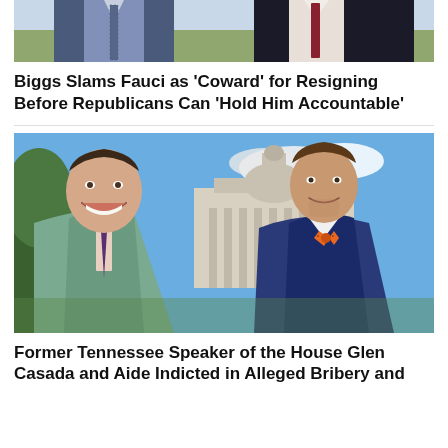[Figure (photo): Photo of two men in suits against outdoor background - top portion cropped]
Biggs Slams Fauci as ‘Coward’ for Resigning Before Republicans Can ‘Hold Him Accountable’
[Figure (photo): Photo of former Tennessee Speaker Glen Casada in green jacket and aide in blue suit with orange bow tie, standing in front of Tennessee State Capitol building]
Former Tennessee Speaker of the House Glen Casada and Aide Indicted in Alleged Bribery and